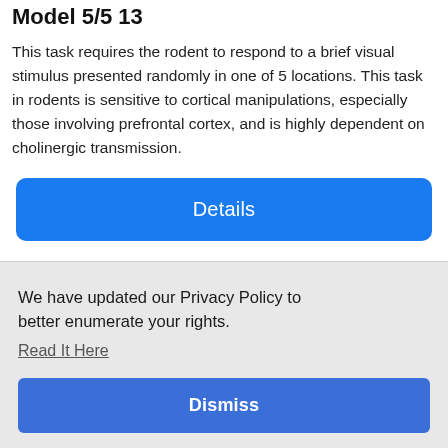Model 5/5 13
This task requires the rodent to respond to a brief visual stimulus presented randomly in one of 5 locations. This task in rodents is sensitive to cortical manipulations, especially those involving prefrontal cortex, and is highly dependent on cholinergic transmission.
[Figure (other): Blue 'Details' button with rounded corners]
We have updated our Privacy Policy to better enumerate your rights.
Read It Here
[Figure (other): Blue 'Dismiss' button]
the rats are presented with a sample location